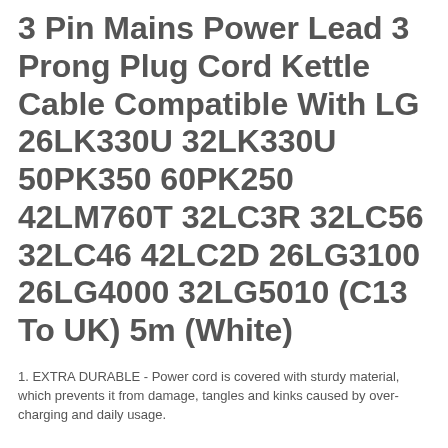3 Pin Mains Power Lead 3 Prong Plug Cord Kettle Cable Compatible With LG 26LK330U 32LK330U 50PK350 60PK250 42LM760T 32LC3R 32LC56 32LC46 42LC2D 26LG3100 26LG4000 32LG5010 (C13 To UK) 5m (White)
1. EXTRA DURABLE - Power cord is covered with sturdy material, which prevents it from damage, tangles and kinks caused by over-charging and daily usage.